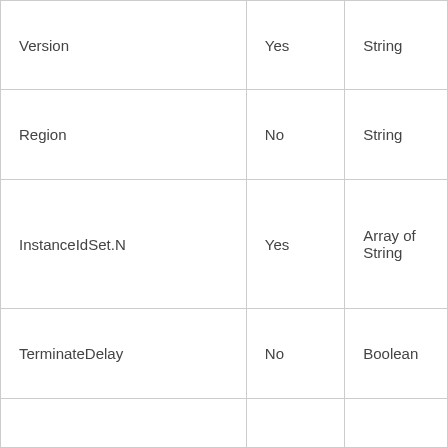| Version | Yes | String |
| Region | No | String |
| InstanceIdSet.N | Yes | Array of String |
| TerminateDelay | No | Boolean |
|  |  |  |